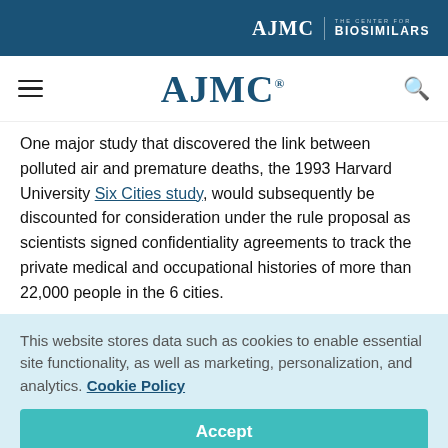AJMC | THE CENTER FOR BIOSIMILARS
[Figure (logo): AJMC logo with navigation bar including hamburger menu and search icon]
One major study that discovered the link between polluted air and premature deaths, the 1993 Harvard University Six Cities study, would subsequently be discounted for consideration under the rule proposal as scientists signed confidentiality agreements to track the private medical and occupational histories of more than 22,000 people in the 6 cities.
This website stores data such as cookies to enable essential site functionality, as well as marketing, personalization, and analytics. Cookie Policy
Accept
Deny